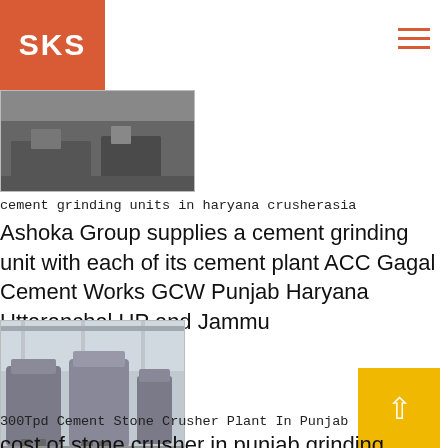SKS
[Figure (photo): Partial view of machinery/industrial equipment, dark toned industrial photo]
cement grinding units in haryana crusherasia
Ashoka Group supplies a cement grinding unit with each of its cement plant ACC Gagal Cement Works GCW Punjab Haryana Uttaranchal UP and Jammu
[Figure (photo): Industrial stone crusher machines in a factory/plant setting, grey equipment]
300Tpd Cement Stone Crusher Plant In Punjab
cost of stone crusher in punjab grinding production